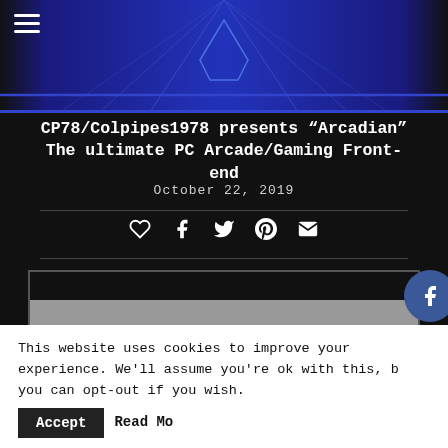[Figure (screenshot): Dark blue banner/header image with geometric line pattern]
CP78/Colpipes1978 presents “Arcadian” The ultimate PC Arcade/Gaming Front-end
October 22, 2019
[Figure (infographic): Social share icons row: heart, facebook, twitter, pinterest, email]
[Figure (screenshot): Main article image showing 'CP78 1.32' in large pink italic text on grey background]
[Figure (infographic): Side social media icons: Facebook, Twitter, RSS, YouTube]
This website uses cookies to improve your experience. We'll assume you're ok with this, but you can opt-out if you wish.